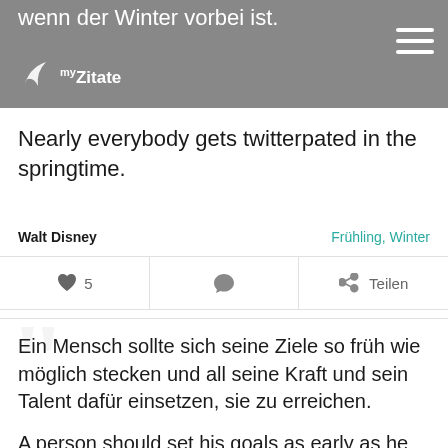wenn der Winter vorbei ist.
Nearly everybody gets twitterpated in the springtime.
Walt Disney
Frühling, Winter
5
Teilen
Ein Mensch sollte sich seine Ziele so früh wie möglich stecken und all seine Kraft und sein Talent dafür einsetzen, sie zu erreichen.
A person should set his goals as early as he can and devote all his energy and talent to